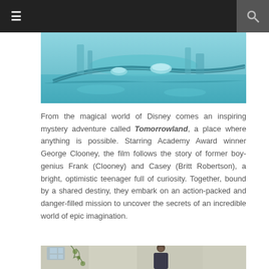☰  🔍
[Figure (photo): Aerial view of a futuristic city from the movie Tomorrowland, showing sleek architecture and monorail-like structures with a teal/blue color palette]
From the magical world of Disney comes an inspiring mystery adventure called Tomorrowland, a place where anything is possible. Starring Academy Award winner George Clooney, the film follows the story of former boy-genius Frank (Clooney) and Casey (Britt Robertson), a bright, optimistic teenager full of curiosity. Together, bound by a shared destiny, they embark on an action-packed and danger-filled mission to uncover the secrets of an incredible world of epic imagination.
[Figure (photo): George Clooney photographed outdoors near a white building with ivy, looking directly at the camera]